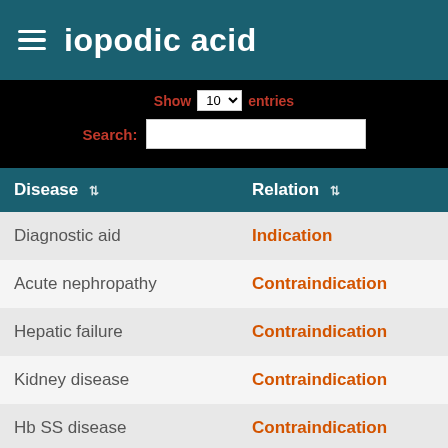iopodic acid
Show 10 entries
Search:
| Disease | Relation | SNOM |
| --- | --- | --- |
| Diagnostic aid | Indication | 29490... |
| Acute nephropathy | Contraindication | 58574... |
| Hepatic failure | Contraindication | 59927... |
| Kidney disease | Contraindication | 90708... |
| Hb SS disease | Contraindication | 12704... |
| Asthma | Contraindication | 19596... |
| Pregnancy, function | Contraindication | 28990... |